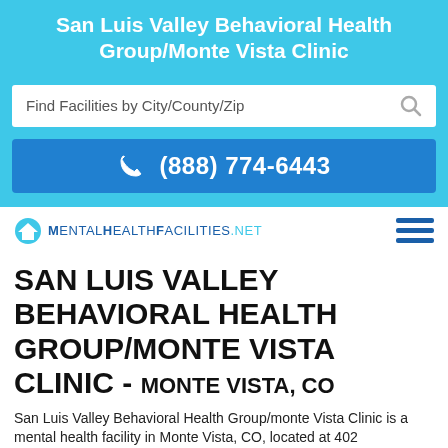San Luis Valley Behavioral Health Group/Monte Vista Clinic
Find Facilities by City/County/Zip
(888) 774-6443
[Figure (logo): MentalHealthFacilities.net logo with house icon and hamburger menu]
SAN LUIS VALLEY BEHAVIORAL HEALTH GROUP/MONTE VISTA CLINIC - MONTE VISTA, CO
San Luis Valley Behavioral Health Group/monte Vista Clinic is a mental health facility in Monte Vista, CO, located at 402